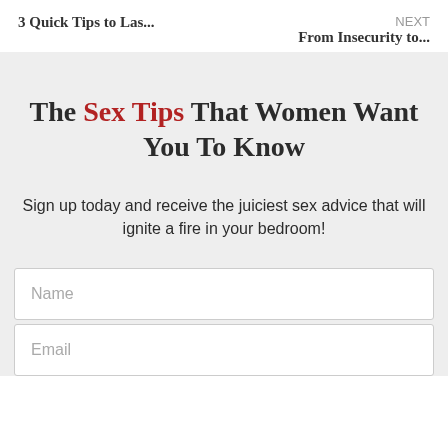3 Quick Tips to Las...
NEXT
From Insecurity to...
The Sex Tips That Women Want You To Know
Sign up today and receive the juiciest sex advice that will ignite a fire in your bedroom!
Name
Email